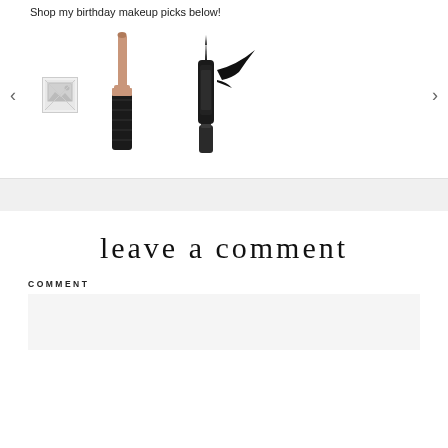Shop my birthday makeup picks below!
[Figure (photo): Carousel with makeup products: a broken image placeholder thumbnail on left, a Benefit-style mascara with rose gold cap in center, and an eyeliner pen with a dramatic wing swatch on the right. Navigation arrows on far left and right.]
leave a comment
COMMENT
[Figure (other): Empty comment text area input box]